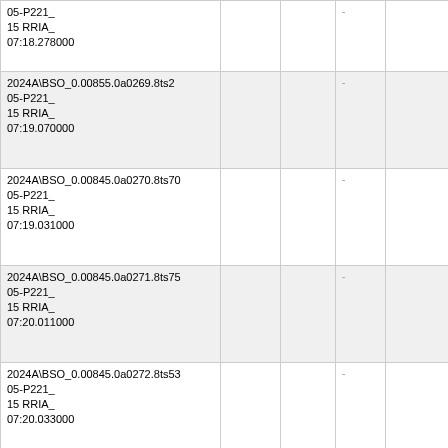| File/Path | Col2 | Col3 | Col4 | Col5 |
| --- | --- | --- | --- | --- |
| 05-P221_
15 RRIA_
07:18.278000 |  |  | - |  |
| 2024A\BSO_0.00855.0a0269.8ts2
05-P221_
15 RRIA_
07:19.070000 |  |  | - |  |
| 2024A\BSO_0.00845.0a0270.8ts70
05-P221_
15 RRIA_
07:19.031000 |  |  | - |  |
| 2024A\BSO_0.00845.0a0271.8ts75
05-P221_
15 RRIA_
07:20.011000 |  |  | - |  |
| 2024A\BSO_0.00845.0a0272.8ts53
05-P221_
15 RRIA_
07:20.033000 |  |  | - |  |
| 2024A\BSO_0.00835.0a0273.8ts53
05-P221_
15 RRIA_ |  |  | - |  |